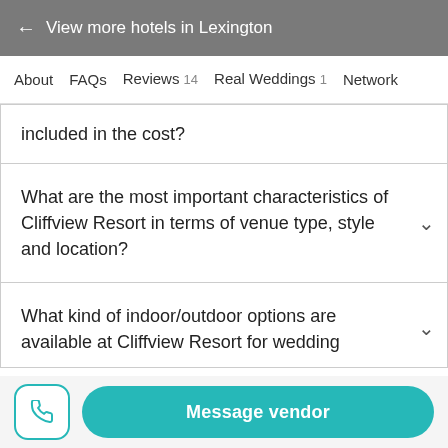← View more hotels in Lexington
About   FAQs   Reviews 14   Real Weddings 1   Network
included in the cost?
What are the most important characteristics of Cliffview Resort in terms of venue type, style and location?
What kind of indoor/outdoor options are available at Cliffview Resort for wedding
Message vendor